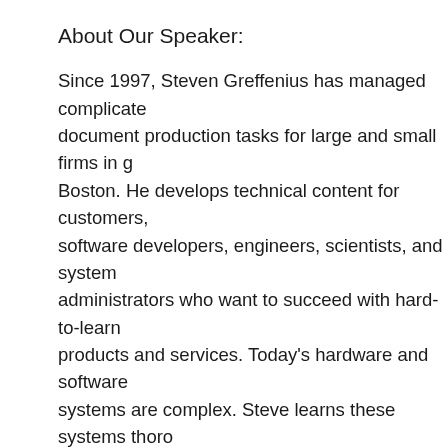About Our Speaker:
Since 1997, Steven Greffenius has managed complicated document production tasks for large and small firms in greater Boston. He develops technical content for customers, software developers, engineers, scientists, and system administrators who want to succeed with hard-to-learn products and services. Today's hardware and software systems are complex. Steve learns these systems thoroughly and quickly. He writes about them clearly and economically.
Steve's career as a writer and leader began in the United States Navy in the Western Pacific, where as a junior officer he managed a division that maintained shipboard communications and radar equipment. After military service, he worked as a graduate student, then as a teacher and researcher for academic institutions located in the United States and overseas. He became a technical writer and editor full time when he moved to Boston in 1997, and has wor